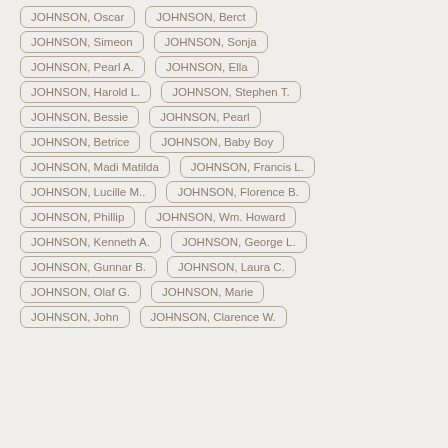JOHNSON, Oscar
JOHNSON, Berct
JOHNSON, Simeon
JOHNSON, Sonja
JOHNSON, Pearl A.
JOHNSON, Ella
JOHNSON, Harold L.
JOHNSON, Stephen T.
JOHNSON, Bessie
JOHNSON, Pearl
JOHNSON, Betrice
JOHNSON, Baby Boy
JOHNSON, Madi Matilda
JOHNSON, Francis L.
JOHNSON, Lucille M..
JOHNSON, Florence B.
JOHNSON, Phillip
JOHNSON, Wm. Howard
JOHNSON, Kenneth A.
JOHNSON, George L.
JOHNSON, Gunnar B.
JOHNSON, Laura C.
JOHNSON, Olaf G.
JOHNSON, Marie
JOHNSON, John
JOHNSON, Clarence W.